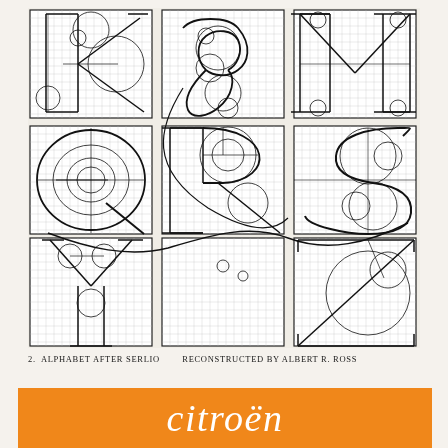[Figure (illustration): Nine grid-based geometric constructions of capital letters (K, decorative letter, M in top row; Q, R, S in middle row; Y, blank/decorative, Z in bottom row) drawn after Serlio's alphabet method, showing circles, arcs, and construction lines on graph grids. Each letter is shown in a separate grid square panel arranged 3x3.]
2.  ALPHABET AFTER SERLIO          RECONSTRUCTED BY ALBERT R. ROSS
[Figure (logo): Orange rectangular banner with italic white text reading 'citroën']